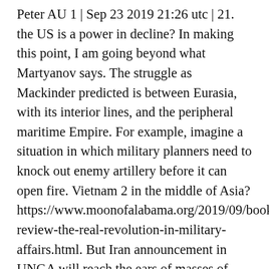Peter AU 1 | Sep 23 2019 21:26 utc | 21. the US is a power in decline? In making this point, I am going beyond what Martyanov says. The struggle as Mackinder predicted is between Eurasia, with its interior lines, and the peripheral maritime Empire. For example, imagine a situation in which military planners need to knock out enemy artillery before it can open fire. Vietnam 2 in the middle of Asia? https://www.moonofalabama.org/2019/09/book-review-the-real-revolution-in-military-affairs.html. But Iran announcement in UNGA will reach the ears of masses of Arab peoples. It is not gonna happen during the next 10 but eventually the penny may drop. Business